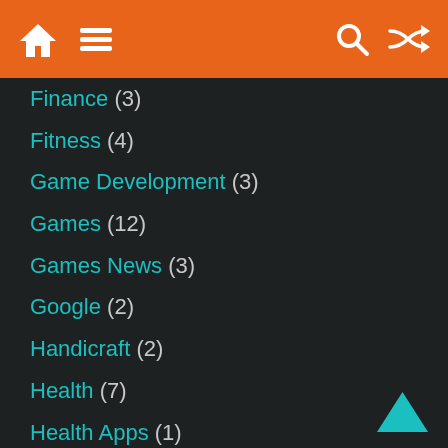Home Menu Search Shuffle
Finance (3)
Fitness (4)
Game Development (3)
Games (12)
Games News (3)
Google (2)
Handicraft (2)
Health (7)
Health Apps (1)
Health Tips (2)
How To (122)
How To – Android (12)
How To – App Stores (4)